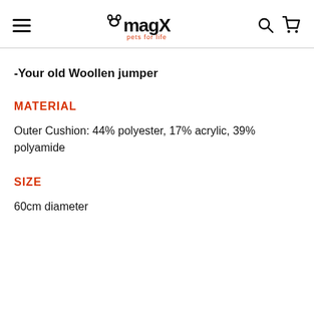magX pets for life
-Your old Woollen jumper
MATERIAL
Outer Cushion: 44% polyester, 17% acrylic, 39% polyamide
SIZE
60cm diameter